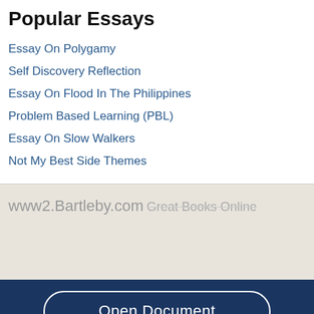Popular Essays
Essay On Polygamy
Self Discovery Reflection
Essay On Flood In The Philippines
Problem Based Learning (PBL)
Essay On Slow Walkers
Not My Best Side Themes
www2.Bartleby.com
Great Books Online
Open Document